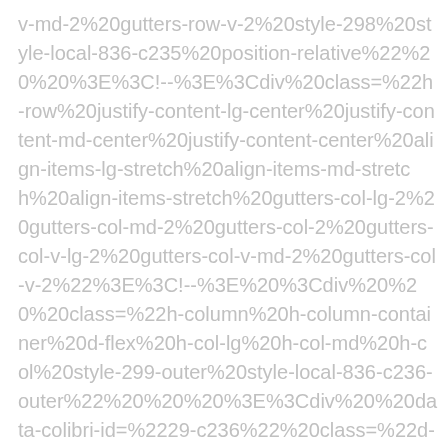v-md-2%20gutters-row-v-2%20style-298%20style-local-836-c235%20position-relative%22%20%20%3E%3C!--%3E%3Cdiv%20class=%22h-row%20justify-content-lg-center%20justify-content-md-center%20justify-content-center%20align-items-lg-stretch%20align-items-md-stretch%20align-items-stretch%20gutters-col-lg-2%20gutters-col-md-2%20gutters-col-2%20gutters-col-v-lg-2%20gutters-col-v-md-2%20gutters-col-v-2%22%3E%3C!--%3E%20%3Cdiv%20%20%20class=%22h-column%20h-column-container%20d-flex%20h-col-lg%20h-col-md%20h-col%20style-299-outer%20style-local-836-c236-outer%22%20%20%20%3E%3Cdiv%20%20data-colibri-id=%2229-c236%22%20class=%22d-flex%20h-flex-basis%20h-column__inner%20h-px-lg-2%20h-px-md-2%20h-px-2%20v-inner-lg-0%20v-inner-md-0%20v-inner-